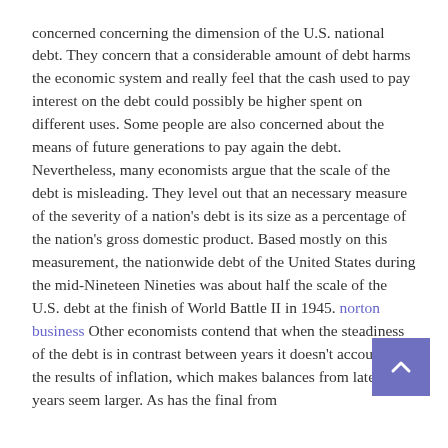concerned concerning the dimension of the U.S. national debt. They concern that a considerable amount of debt harms the economic system and really feel that the cash used to pay interest on the debt could possibly be higher spent on different uses. Some people are also concerned about the means of future generations to pay again the debt. Nevertheless, many economists argue that the scale of the debt is misleading. They level out that an necessary measure of the severity of a nation's debt is its size as a percentage of the nation's gross domestic product. Based mostly on this measurement, the nationwide debt of the United States during the mid-Nineteen Nineties was about half the scale of the U.S. debt at the finish of World Battle II in 1945. norton business Other economists contend that when the steadiness of the debt is in contrast between years it doesn't account for the results of inflation, which makes balances from later years seem larger. As has the final from